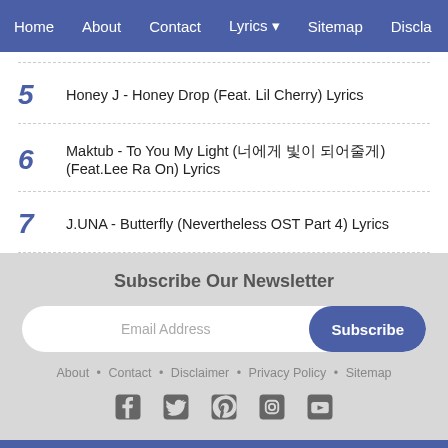Home  About  Contact  Lyrics  Sitemap  Discla
5  Honey J - Honey Drop (Feat. Lil Cherry) Lyrics
6  Maktub - To You My Light (너에게 빛이 되어줄게) (Feat.Lee Ra On) Lyrics
7  J.UNA - Butterfly (Nevertheless OST Part 4) Lyrics
Subscribe Our Newsletter
Email Address  Subscribe
About • Contact • Disclaimer • Privacy Policy • Sitemap
[Figure (infographic): Social media icons: Facebook, Twitter, Pinterest, Instagram, YouTube]
Copyright © 2022
Theme by Igniel